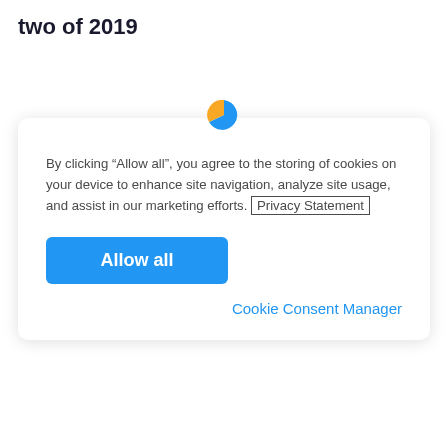two of 2019
[Figure (screenshot): Cookie consent dialog box with a pie chart icon at top, text about cookie storage, a Privacy Statement link, an Allow all button, and a Cookie Consent Manager link]
By clicking “Allow all”, you agree to the storing of cookies on your device to enhance site navigation, analyze site usage, and assist in our marketing efforts. Privacy Statement
Allow all
Cookie Consent Manager